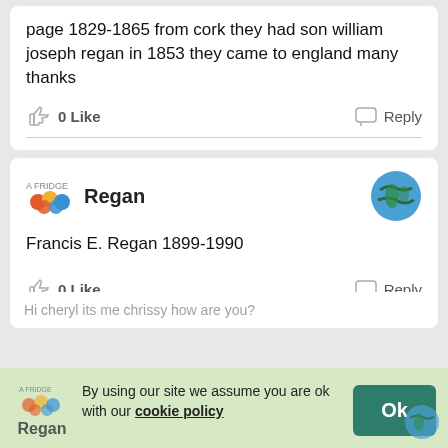page 1829-1865 from cork they had son william joseph regan in 1853 they came to england many thanks
0 Like   Reply
Regan
Francis E. Regan 1899-1990
0 Like   Reply
By using our site we assume you are ok with our cookie policy
Ok
Regan
Hi cheryl its me chrissy how are you?